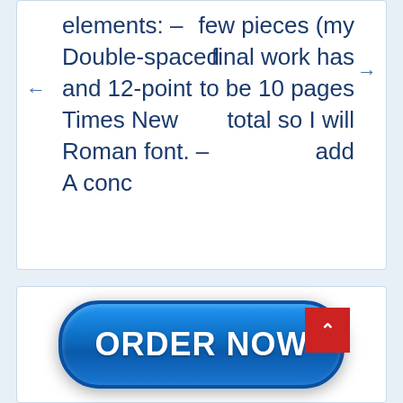elements: – Double-spaced and 12-point Times New Roman font. – A conc
few pieces (my final work has to be 10 pages total so I will add
[Figure (other): Blue rounded rectangle ORDER NOW button with a red scroll-to-top chevron badge on the right]